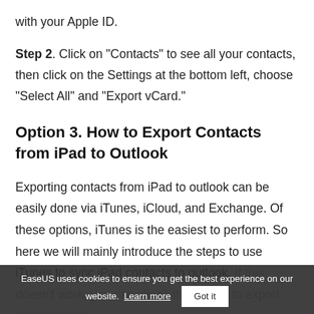with your Apple ID.
Step 2. Click on "Contacts" to see all your contacts, then click on the Settings at the bottom left, choose "Select All" and "Export vCard."
Option 3. How to Export Contacts from iPad to Outlook
Exporting contacts from iPad to outlook can be easily done via iTunes, iCloud, and Exchange. Of these options, iTunes is the easiest to perform. So here we will mainly introduce the steps to use iTunes to sync iPad contacts to outlook. If this doesn't work, you can check this option to export contacts from
EaseUS uses cookies to ensure you get the best experience on our website. Learn more  Got it